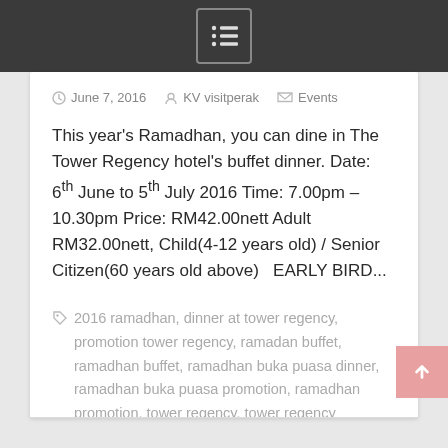menu icon / navigation bar
June 7, 2016   KV visitperak   Events
This year's Ramadhan, you can dine in The Tower Regency hotel's buffet dinner. Date: 6th June to 5th July 2016 Time: 7.00pm – 10.30pm Price: RM42.00nett Adult RM32.00nett, Child(4-12 years old) / Senior Citizen(60 years old above)   EARLY BIRD...
2016 ramadhan, dinner at tower regency, promotion tower regency, ramadan buffet, ramadhan buffet, ramadhan buka puasa dinner, ramadhan buka puasa promotion, ramadhan promotion, tower regency, tower regency ramadhan buffet dinner promotion   Leave a comment